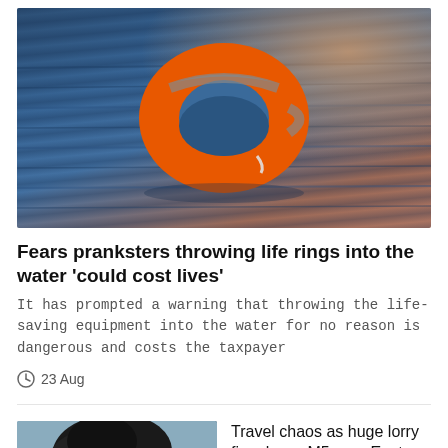[Figure (photo): Orange life ring / lifebuoy floating in blue-gray water with sunlit reddish glow in background]
Fears pranksters throwing life rings into the water 'could cost lives'
It has prompted a warning that throwing the life-saving equipment into the water for no reason is dangerous and costs the taxpayer
23 Aug
[Figure (photo): Thumbnail image of large black smoke plume from lorry fire, with play button overlay]
Travel chaos as huge lorry fire closes M5 near Exeter